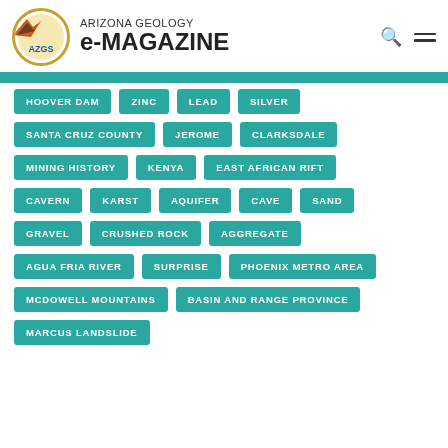ARIZONA GEOLOGY e-MAGAZINE
HOOVER DAM
ZINC
LEAD
SILVER
SANTA CRUZ COUNTY
JEROME
CLARKSDALE
MINING HISTORY
KENYA
EAST AFRICAN RIFT
CAVERN
KARST
AQUIFER
CAVE
SAND
GRAVEL
CRUSHED ROCK
AGGREGATE
AGUA FRIA RIVER
SURPRISE
PHOENIX METRO AREA
MCDOWELL MOUNTAINS
BASIN AND RANGE PROVINCE
MARCUS LANDSLIDE